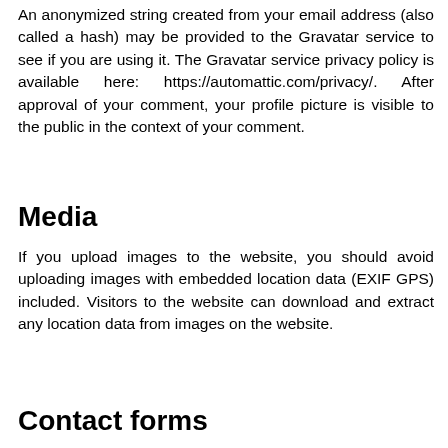An anonymized string created from your email address (also called a hash) may be provided to the Gravatar service to see if you are using it. The Gravatar service privacy policy is available here: https://automattic.com/privacy/. After approval of your comment, your profile picture is visible to the public in the context of your comment.
Media
If you upload images to the website, you should avoid uploading images with embedded location data (EXIF GPS) included. Visitors to the website can download and extract any location data from images on the website.
Contact forms